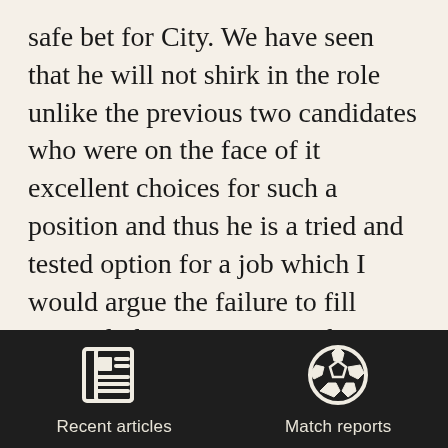safe bet for City. We have seen that he will not shirk in the role unlike the previous two candidates who were on the face of it excellent choices for such a position and thus he is a tried and tested option for a job which I would argue the failure to fill correctly has cost us over the previous two season, and probably longer.

It should be noted that Luke Sharry
[Figure (other): Dark footer navigation bar with two icons: a newspaper/articles icon labeled 'Recent articles' and a soccer ball icon labeled 'Match reports']